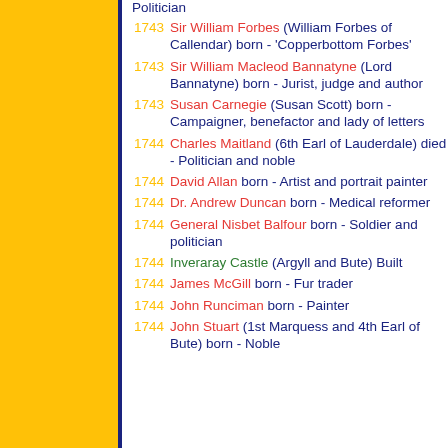Politician
1743 Sir William Forbes (William Forbes of Callendar) born - 'Copperbottom Forbes'
1743 Sir William Macleod Bannatyne (Lord Bannatyne) born - Jurist, judge and author
1743 Susan Carnegie (Susan Scott) born - Campaigner, benefactor and lady of letters
1744 Charles Maitland (6th Earl of Lauderdale) died - Politician and noble
1744 David Allan born - Artist and portrait painter
1744 Dr. Andrew Duncan born - Medical reformer
1744 General Nisbet Balfour born - Soldier and politician
1744 Inveraray Castle (Argyll and Bute) Built
1744 James McGill born - Fur trader
1744 John Runciman born - Painter
1744 John Stuart (1st Marquess and 4th Earl of Bute) born - Noble